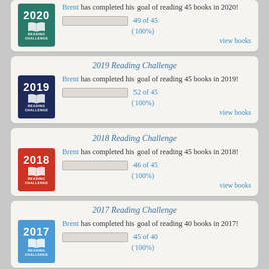Brent has completed his goal of reading 45 books in 2020! 49 of 45 (100%) view books
2019 Reading Challenge
Brent has completed his goal of reading 45 books in 2019! 52 of 45 (100%) view books
2018 Reading Challenge
Brent has completed his goal of reading 45 books in 2018! 46 of 45 (100%) view books
2017 Reading Challenge
Brent has completed his goal of reading 40 books in 2017! 45 of 40 (100%)